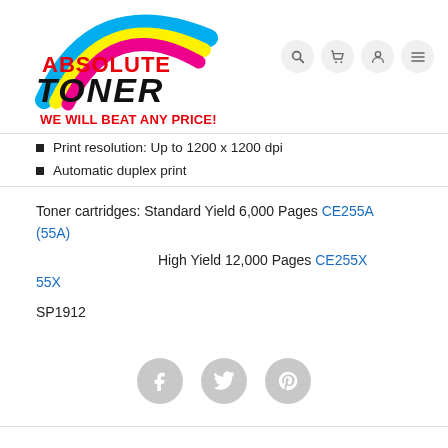[Figure (logo): Absolute Toner logo with colored arc (cyan, yellow, magenta/pink) above stylized text 'ABSOLUTE TONER' in red and black.]
WE WILL BEAT ANY PRICE!
Print resolution: Up to 1200 x 1200 dpi
Automatic duplex print
Toner cartridges: Standard Yield 6,000 Pages CE255A (55A)
High Yield 12,000 Pages CE255X 55X
SP1912
[Figure (other): Social media icons: Facebook, Twitter, Pinterest — grey circle buttons]